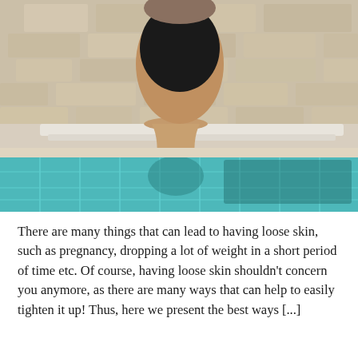[Figure (photo): A woman in a black swimsuit/outfit sitting on a lounge chair by a swimming pool with turquoise water and stone wall background.]
There are many things that can lead to having loose skin, such as pregnancy, dropping a lot of weight in a short period of time etc. Of course, having loose skin shouldn't concern you anymore, as there are many ways that can help to easily tighten it up! Thus, here we present the best ways [...]